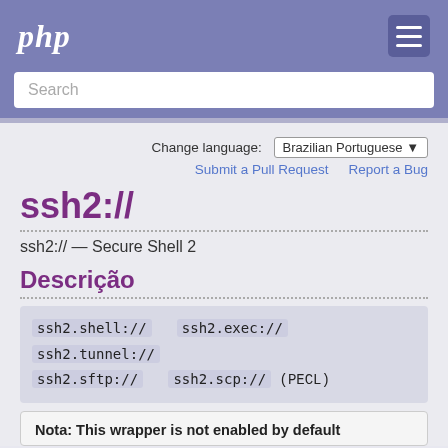php
Search
Change language: Brazilian Portuguese
Submit a Pull Request   Report a Bug
ssh2://
ssh2:// — Secure Shell 2
Descrição
ssh2.shell://  ssh2.exec://  ssh2.tunnel://  ssh2.sftp://  ssh2.scp://  (PECL)
Nota: This wrapper is not enabled by default